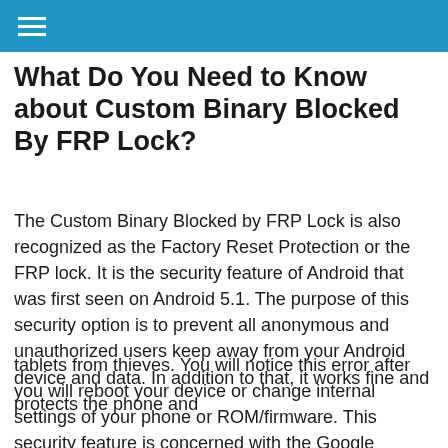What Do You Need to Know about Custom Binary Blocked By FRP Lock?
The Custom Binary Blocked by FRP Lock is also recognized as the Factory Reset Protection or the FRP lock. It is the security feature of Android that was first seen on Android 5.1. The purpose of this security option is to prevent all anonymous and unauthorized users keep away from your Android device and data. In addition to that, it works fine and protects the phone and
tablets from thieves. You will notice this error after you will reboot your device or change internal settings of your phone or ROM/firmware. This security feature is concerned with the Google account that you used